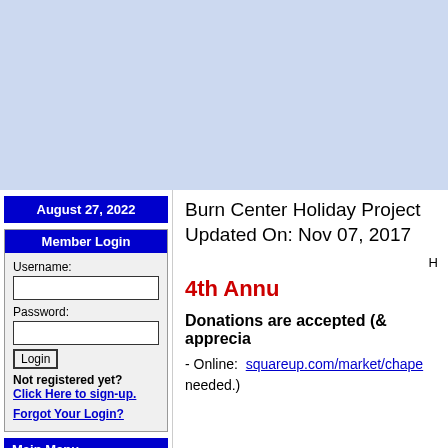[Figure (other): Light blue banner/header area at top of webpage]
August 27, 2022
Member Login
Username:
Password:
Login
Not registered yet?
Click Here to sign-up.
Forgot Your Login?
Main Menu
Home
Burn Center Holiday Project
Updated On: Nov 07, 2017
H
4th Annu
Donations are accepted (& apprecia
- Online:  squareup.com/market/chape needed.)